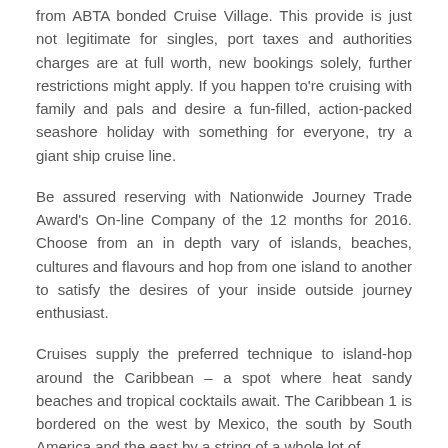from ABTA bonded Cruise Village. This provide is just not legitimate for singles, port taxes and authorities charges are at full worth, new bookings solely, further restrictions might apply. If you happen to're cruising with family and pals and desire a fun-filled, action-packed seashore holiday with something for everyone, try a giant ship cruise line.
Be assured reserving with Nationwide Journey Trade Award's On-line Company of the 12 months for 2016. Choose from an in depth vary of islands, beaches, cultures and flavours and hop from one island to another to satisfy the desires of your inside outside journey enthusiast.
Cruises supply the preferred technique to island-hop around the Caribbean – a spot where heat sandy beaches and tropical cocktails await. The Caribbean 1 is bordered on the west by Mexico, the south by South America and the east by a string of a whole lot of